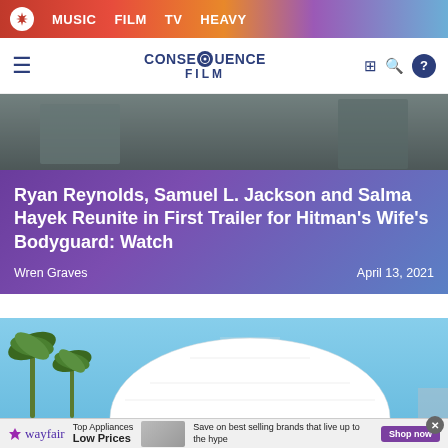MUSIC  FILM  TV  HEAVY
CONSEQUENCE FILM
[Figure (photo): Film still showing people in a scene, dark/muted tones]
Ryan Reynolds, Samuel L. Jackson and Salma Hayek Reunite in First Trailer for Hitman's Wife's Bodyguard: Watch
Wren Graves
April 13, 2021
[Figure (photo): Outdoor photo showing palm trees against a blue sky with a large white geodesic dome structure]
[Figure (photo): Wayfair advertisement showing kitchen appliance with text: Top Appliances Low Prices, Save on best selling brands that live up to the hype, Shop now]